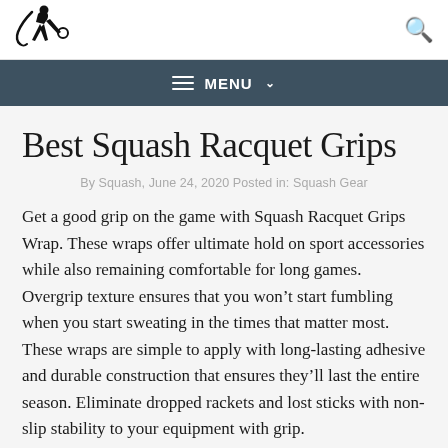[Figure (logo): Squash player silhouette logo in black]
MENU
Best Squash Racquet Grips
By Squash, June 24, 2020 Posted in: Squash Gear
Get a good grip on the game with Squash Racquet Grips Wrap. These wraps offer ultimate hold on sport accessories while also remaining comfortable for long games. Overgrip texture ensures that you won’t start fumbling when you start sweating in the times that matter most. These wraps are simple to apply with long-lasting adhesive and durable construction that ensures they’ll last the entire season. Eliminate dropped rackets and lost sticks with non-slip stability to your equipment with grip.